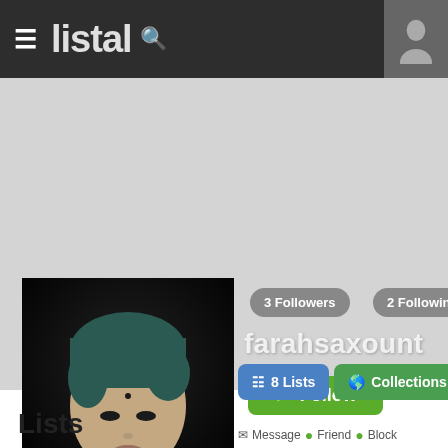listal
[Figure (screenshot): Profile photo of user farahsaxount — person with dark teal/green hair against dark background]
3 Followers
2 Following
farahsaxount
Follow
Message   Friend  Block
8 Lists
Collections
Lists